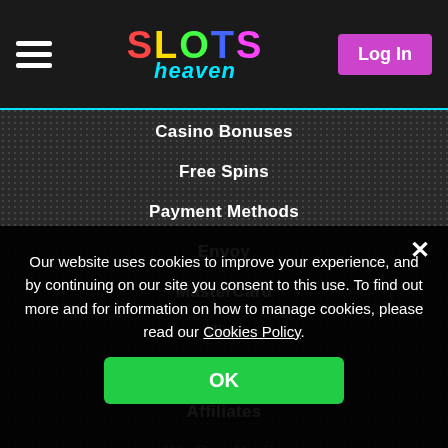SLOTS heaven — Log In
Casino Bonuses
Free Spins
Payment Methods
Envoy
MasterCard
Visa
Loyalty Points
Affiliates
We Buy Media
Player Support
Contact Us
Help
Our website uses cookies to improve your experience, and by continuing on our site you consent to this use. To find out more and for information on how to manage cookies, please read our Cookies Policy.